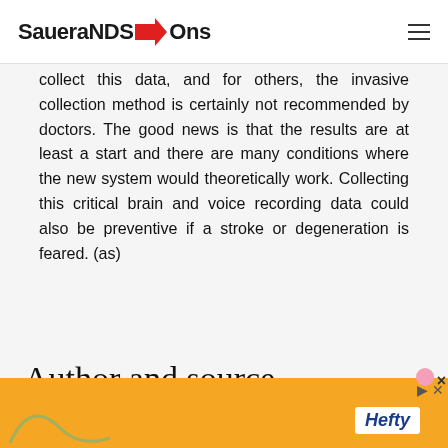SaueraNDS→Ons
collect this data, and for others, the invasive collection method is certainly not recommended by doctors. The good news is that the results are at least a start and there are many conditions where the new system would theoretically work. Collecting this critical brain and voice recording data could also be preventive if a stroke or degeneration is feared. (as)
Author and source information